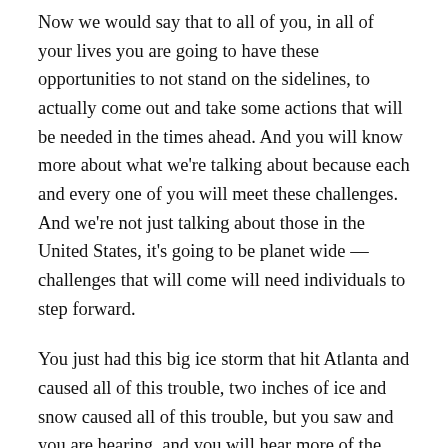Now we would say that to all of you, in all of your lives you are going to have these opportunities to not stand on the sidelines, to actually come out and take some actions that will be needed in the times ahead. And you will know more about what we're talking about because each and every one of you will meet these challenges. And we're not just talking about those in the United States, it's going to be planet wide — challenges that will come will need individuals to step forward.
You just had this big ice storm that hit Atlanta and caused all of this trouble, two inches of ice and snow caused all of this trouble, but you saw and you are hearing, and you will hear more of the individual stories of people taking action and doing what was needed in the moment.
And it does not have to be a catastrophe that can bring that out, it can also just be things going as they are. Sometimes it's just a question of doing the right thing in the moment, whether it is